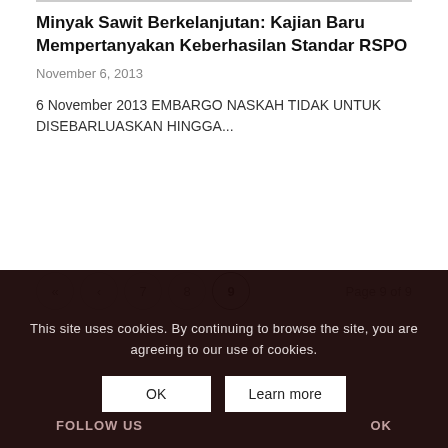Minyak Sawit Berkelanjutan: Kajian Baru Mempertanyakan Keberhasilan Standar RSPO
November 6, 2013
6 November 2013 EMBARGO NASKAH TIDAK UNTUK DISEBARLUASKAN HINGGA...
« ‹ 7 8 9   Page 9 of 9
This site uses cookies. By continuing to browse the site, you are agreeing to our use of cookies.
FOLLOW US
OK